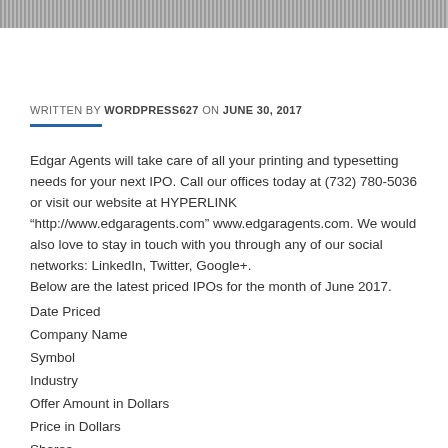WRITTEN BY WORDPRESS627 ON JUNE 30, 2017
Edgar Agents will take care of all your printing and typesetting needs for your next IPO. Call our offices today at (732) 780-5036 or visit our website at HYPERLINK “http://www.edgaragents.com” www.edgaragents.com. We would also love to stay in touch with you through any of our social networks: LinkedIn, Twitter, Google+.
Below are the latest priced IPOs for the month of June 2017.
Date Priced
Company Name
Symbol
Industry
Offer Amount in Dollars
Price in Dollars
Shares
MKT